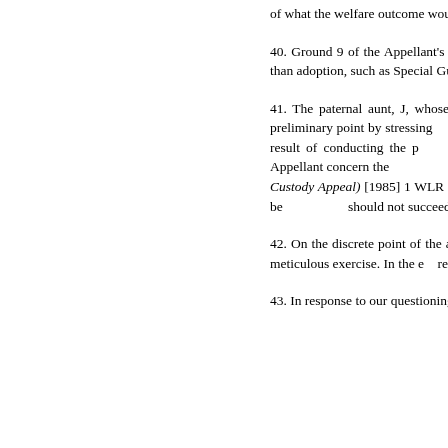of what the welfare outcome would be if the children remained with the family.
40. Ground 9 of the Appellant's Grounds raises the submission that the judge 'failed to consider other options for permanence for A and B, other than adoption, such as Special Guardianship...
41. The paternal aunt, J, whose case was presented before us by Mr Geekie QC, as it was before the judge, began by making an important preliminary point by stressing the judge's knowledge of the family as a result of presiding over the earlier proceedings relating to A and B, and as a result of conducting the proceedings below himself. A further, and equally significant, preliminary point applicable to the arguments of the Appellant concern the approach to the relevant factors; Mr Geekie draws attention to the case of G v G (Minors: Custody Appeal) [1985] 1 WLR 647 and the approach in that case, which are now to be read with Re B (A... submits that, approached as it should be, the appeal should not succeed and, indeed, permission...
42. On the discrete point of the absence of a welfare analysis for adoption if the children remained with the aunt, Mr Geekie submits conducted a meticulous exercise. In the e... required a move to the aunt, irrespective of...
43. In response to our questioning of the... submitted that that issue fell to be assessed... placement in the family in recent cases. He...